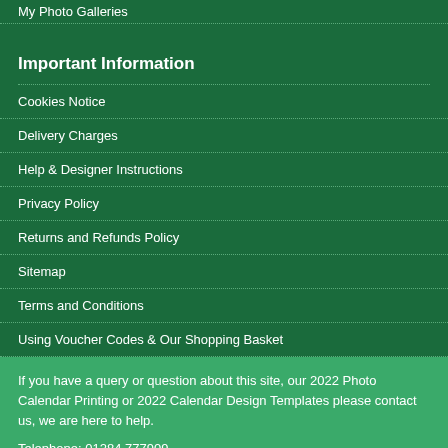My Photo Galleries
Important Information
Cookies Notice
Delivery Charges
Help & Designer Instructions
Privacy Policy
Returns and Refunds Policy
Sitemap
Terms and Conditions
Using Voucher Codes & Our Shopping Basket
If you have a query or question about this site, our 2022 Photo Calendar Printing or 2022 Calendar Design Templates please contact us, we are here to help.
Telephone: 01284 777909
Copyright © ASK Calendars Limited, 2021.